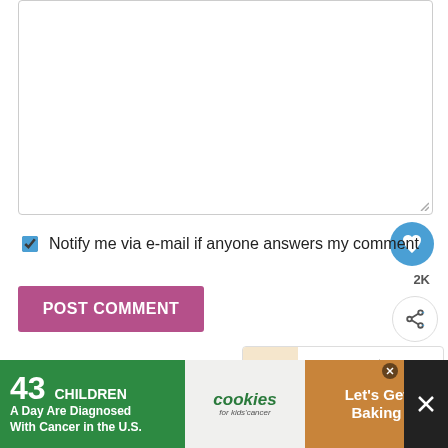[Figure (screenshot): Empty textarea comment input box with resize handle at bottom right]
[Figure (illustration): Blue circular heart/like button with white heart icon]
2K
[Figure (illustration): White circular share button with share icon]
Notify me via e-mail if anyone answers my comment
POST COMMENT
WHAT'S NEXT → Soft & Chewy Sugar Cookies
Comments
[Figure (infographic): Advertisement banner: 43 CHILDREN A Day Are Diagnosed With Cancer in the U.S. | cookies for kids cancer | Let's Get Baking]